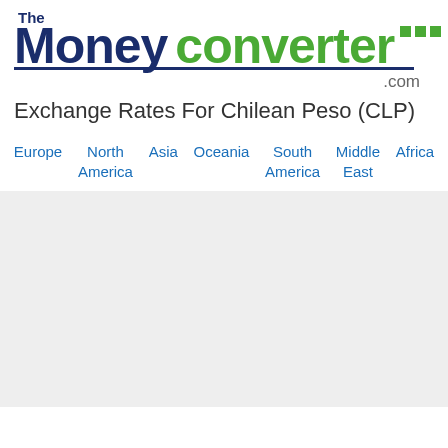[Figure (logo): The Money Converter .com logo with dark blue bold 'The Money' text and green bold 'converter' text, green square dots top right, dark blue underline, .com in grey]
Exchange Rates For Chilean Peso (CLP)
Europe
North America
Asia
Oceania
South America
Middle East
Africa